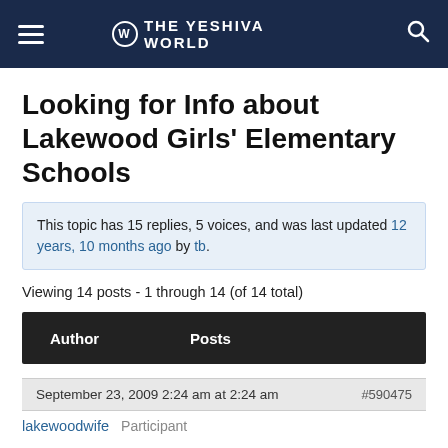THE YESHIVA WORLD
Looking for Info about Lakewood Girls' Elementary Schools
This topic has 15 replies, 5 voices, and was last updated 12 years, 10 months ago by tb.
Viewing 14 posts - 1 through 14 (of 14 total)
| Author | Posts |
| --- | --- |
September 23, 2009 2:24 am at 2:24 am #590475
lakewoodwife  Participant
We are starting to think about schools for our dau (actually we've been thinking about it since she w born, but now we are starting to get really serious about